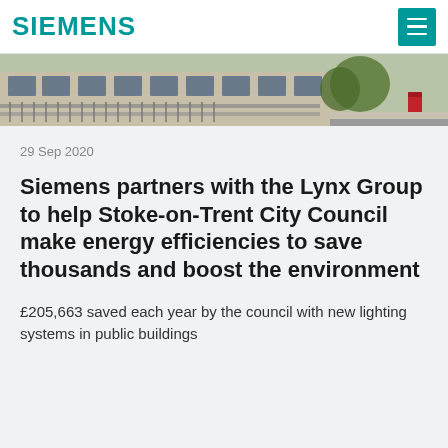SIEMENS
[Figure (photo): Exterior photo of a public building with railings, windows, trees and a red postbox visible on the street.]
29 Sep 2020
Siemens partners with the Lynx Group to help Stoke-on-Trent City Council make energy efficiencies to save thousands and boost the environment
£205,663 saved each year by the council with new lighting systems in public buildings